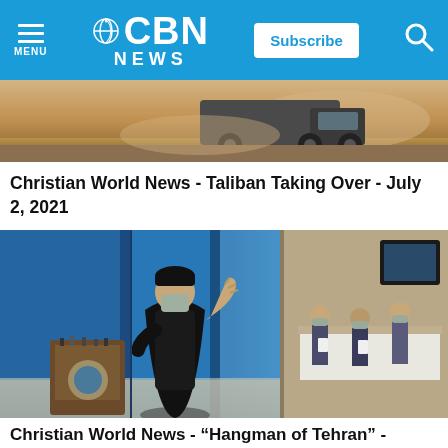CBN NEWS
[Figure (photo): Military truck driving on a dusty road, Taliban-related news image]
Christian World News - Taliban Taking Over - July 2, 2021
[Figure (photo): Man in black robe and mask raising his hand in a mosque-like setting, likely an Iranian election scene with poll workers in background]
Christian World News - "Hangman of Tehran" -